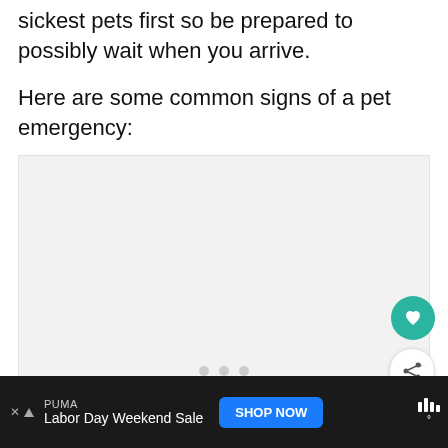sickest pets first so be prepared to possibly wait when you arrive.
Here are some common signs of a pet emergency:
[Figure (other): Placeholder image area with pagination dots and floating action buttons (heart/favorite and share)]
[Figure (other): Advertisement banner: PUMA - Labor Day Weekend Sale with SHOP NOW button and audio/streaming logo]